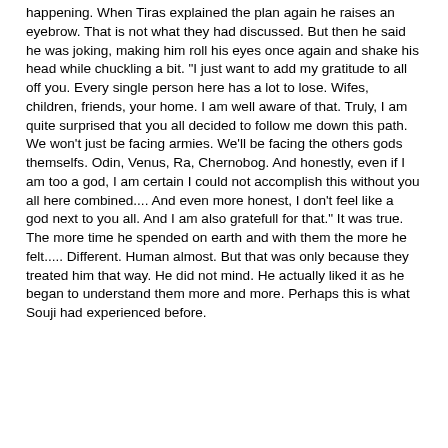happening. When Tiras explained the plan again he raises an eyebrow. That is not what they had discussed. But then he said he was joking, making him roll his eyes once again and shake his head while chuckling a bit. "I just want to add my gratitude to all off you. Every single person here has a lot to lose. Wifes, children, friends, your home. I am well aware of that. Truly, I am quite surprised that you all decided to follow me down this path. We won't just be facing armies. We'll be facing the others gods themselfs. Odin, Venus, Ra, Chernobog. And honestly, even if I am too a god, I am certain I could not accomplish this without you all here combined.... And even more honest, I don't feel like a god next to you all. And I am also gratefull for that." It was true. The more time he spended on earth and with them the more he felt..... Different. Human almost. But that was only because they treated him that way. He did not mind. He actually liked it as he began to understand them more and more. Perhaps this is what Souji had experienced before.